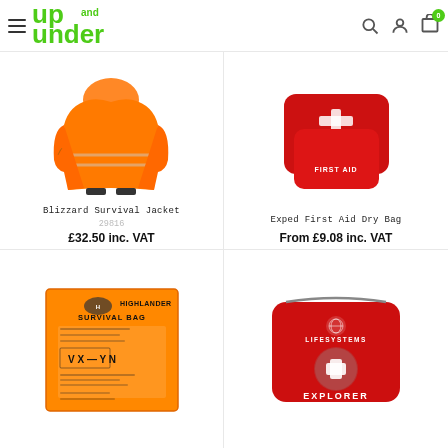[Figure (logo): Up and Under logo in green with hamburger menu and header icons]
[Figure (photo): Blizzard Survival Jacket - orange emergency jacket worn by person]
Blizzard Survival Jacket
29816
£32.50 inc. VAT
[Figure (photo): Exped First Aid Dry Bag - red first aid pouches]
Exped First Aid Dry Bag
From £9.08 inc. VAT
[Figure (photo): Highlander Survival Bag - orange packaging with V X Y N markings]
[Figure (photo): Lifesystems Explorer First Aid Kit - red zip case with cross logo]